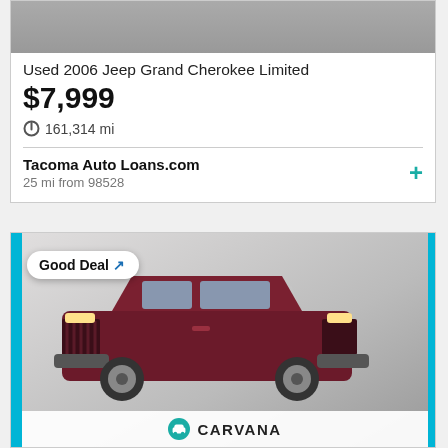[Figure (photo): Partial car photo at top of listing card (cropped, gray background)]
Used 2006 Jeep Grand Cherokee Limited
$7,999
161,314 mi
Tacoma Auto Loans.com
25 mi from 98528
[Figure (photo): Dark red/maroon Jeep Grand Cherokee SUV on gray studio background, with 'Good Deal' badge and Carvana branding. Blue border on left and right sides of card.]